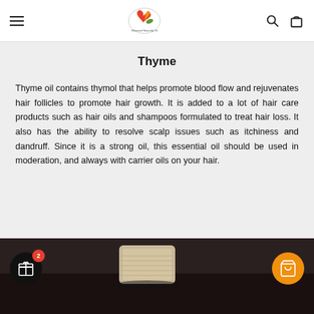Glommed Naturally Oil — navigation header with logo, hamburger menu, search and cart icons
Thyme
Thyme oil contains thymol that helps promote blood flow and rejuvenates hair follicles to promote hair growth. It is added to a lot of hair care products such as hair oils and shampoos formulated to treat hair loss. It also has the ability to resolve scalp issues such as itchiness and dandruff. Since it is a strong oil, this essential oil should be used in moderation, and always with carrier oils on your hair.
[Figure (photo): A bottle stopper or cork-like object (appears to be a thyme or spice-related product) on a dark wooden surface, partially visible at the bottom of the page.]